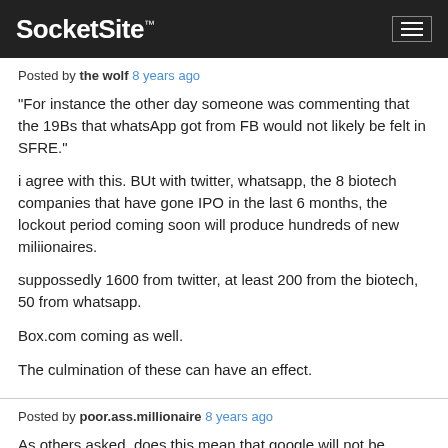SocketSite™
Posted by the wolf 8 years ago
“For instance the other day someone was commenting that the 19Bs that whatsApp got from FB would not likely be felt in SFRE.”

i agree with this. BUt with twitter, whatsapp, the 8 biotech companies that have gone IPO in the last 6 months, the lockout period coming soon will produce hundreds of new miliionaires.

suppossedly 1600 from twitter, at least 200 from the biotech, 50 from whatsapp.

Box.com coming as well.

The culmination of these can have an effect.
Posted by poor.ass.millionaire 8 years ago
As others asked, does this mean that google will not be looking at a high visibility play in SF proper (like transbay or former sales force campus?) if so, that means that supervisor Crapos and the bus protesters must have made some impact, at least wrt the hassle factor of dealing with SF. And that would suck.